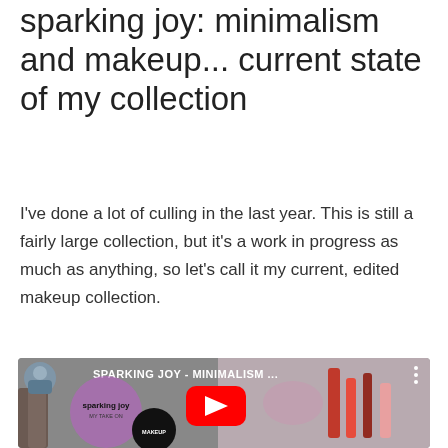sparking joy: minimalism and makeup... current state of my collection
I've done a lot of culling in the last year. This is still a fairly large collection, but it's a work in progress as much as anything, so let's call it my current, edited makeup collection.
[Figure (screenshot): YouTube video thumbnail showing a makeup collection display with text 'SPARKING JOY - MINIMALISM...' and a YouTube play button. Overlays include a purple circle with 'sparking joy / MY TAKE ON' text, a black circle with 'MAKEUP' text, and a small profile image in top left.]